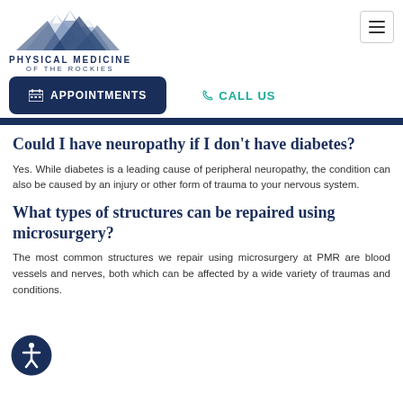[Figure (logo): Physical Medicine of the Rockies logo with mountain peaks SVG above the text]
PHYSICAL MEDICINE
OF THE ROCKIES
APPOINTMENTS
CALL US
Could I have neuropathy if I don't have diabetes?
Yes. While diabetes is a leading cause of peripheral neuropathy, the condition can also be caused by an injury or other form of trauma to your nervous system.
What types of structures can be repaired using microsurgery?
The most common structures we repair using microsurgery at PMR are blood vessels and nerves, both which can be affected by a wide variety of traumas and conditions.